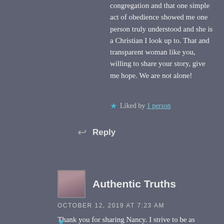congregation and that one simple act of obedience showed me one person truly understood and she is a Christian I look up to. That and transparent woman like you, willing to share your story, give me hope. We are not alone!
★ Liked by 1 person
↩ Reply
Authentic Truths
OCTOBER 12, 2019 AT 7:23 AM
Thank you for sharing Nancy. I strive to be as transparent as possible, to best represent this community of believers!